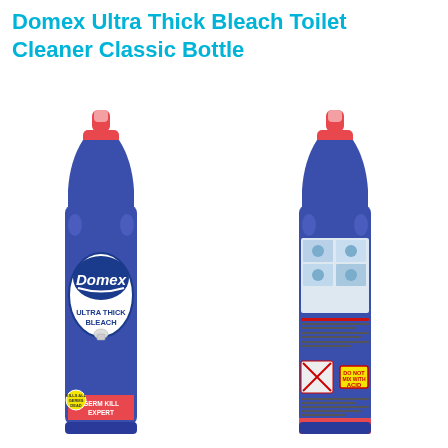Domex Ultra Thick Bleach Toilet Cleaner Classic Bottle
[Figure (photo): Two views of Domex Ultra Thick Bleach Toilet Cleaner bottle. Left: front view of a blue bottle with red cap, showing Domex logo, 'Ultra Thick Bleach' label, toilet graphic, and 'Germ Kill Expert' banner. Right: back view of the same bottle showing usage instructions, warning labels, and ingredients information.]